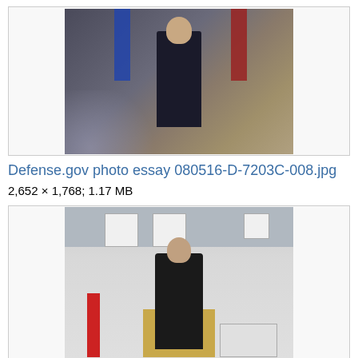[Figure (photo): Military officer in dress uniform speaking at a podium, flanked by blue and red flags]
Defense.gov photo essay 080516-D-7203C-008.jpg
2,652 × 1,768; 1.17 MB
[Figure (photo): Person in black shirt standing at a wooden podium holding papers, with display boards behind and a flag to the left]
Diadelibro2003.jpg
640 × 480; 42 KB